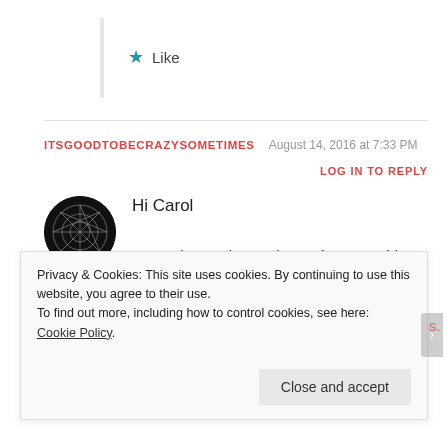★ Like
ITSGOODTOBECRAZYSOMETIMES   August 14, 2016 at 7:33 PM
LOG IN TO REPLY
Hi Carol
Just to let you know I have given your blog a shout out.
https://itsgoodtobecrazysometimes.wordpress.
Privacy & Cookies: This site uses cookies. By continuing to use this website, you agree to their use. To find out more, including how to control cookies, see here: Cookie Policy
Close and accept